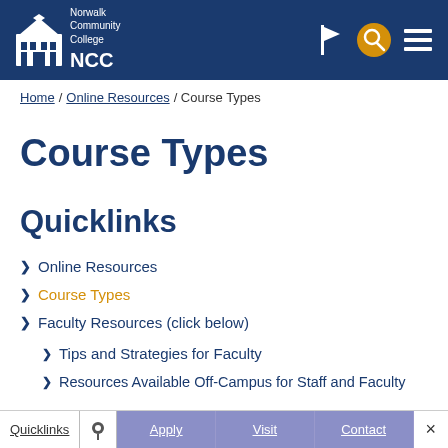Norwalk Community College
Home / Online Resources / Course Types
Course Types
Quicklinks
Online Resources
Course Types
Faculty Resources (click below)
Tips and Strategies for Faculty
Resources Available Off-Campus for Staff and Faculty
Quicklinks  Apply  Visit  Contact  ×